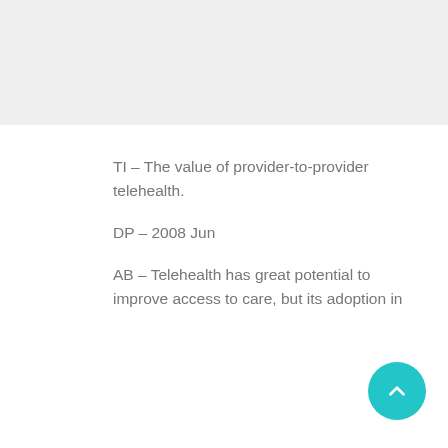[Figure (other): Gray top bar / header image placeholder]
TI – The value of provider-to-provider telehealth.
DP – 2008 Jun
AB – Telehealth has great potential to improve access to care, but its adoption in